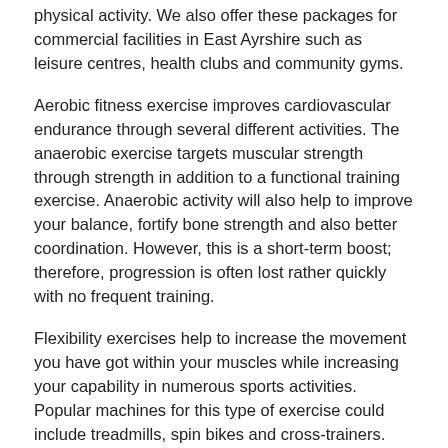physical activity. We also offer these packages for commercial facilities in East Ayrshire such as leisure centres, health clubs and community gyms.
Aerobic fitness exercise improves cardiovascular endurance through several different activities. The anaerobic exercise targets muscular strength through strength in addition to a functional training exercise. Anaerobic activity will also help to improve your balance, fortify bone strength and also better coordination. However, this is a short-term boost; therefore, progression is often lost rather quickly with no frequent training.
Flexibility exercises help to increase the movement you have got within your muscles while increasing your capability in numerous sports activities. Popular machines for this type of exercise could include treadmills, spin bikes and cross-trainers. We have a wide variety of these featured products available individually or as part of a package to suit your budget.
There is a range of commercial gym equipment that meets the exercise needs of both men and women. Check out our